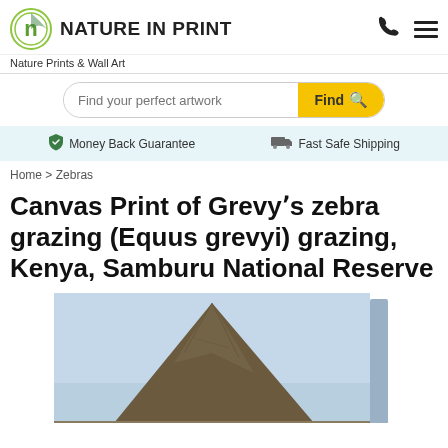NATURE IN PRINT — Nature Prints & Wall Art
Find your perfect artwork — Find
Money Back Guarantee   Fast Safe Shipping
Home > Zebras
Canvas Print of Grevyʼs zebra grazing (Equus grevyi) grazing, Kenya, Samburu National Reserve
[Figure (photo): Partial product image showing a canvas print of a mountain scene (Samburu region), displayed on an angled canvas frame with blue sky background.]